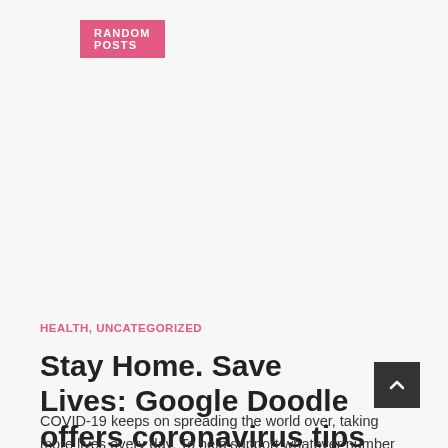RANDOM POSTS
HEALTH, UNCATEGORIZED
Stay Home. Save Lives: Google Doodle offers coronavirus tips
COVID-19 keeps on spreading the world over, taking more lives every day. To help support whatever number individuals as